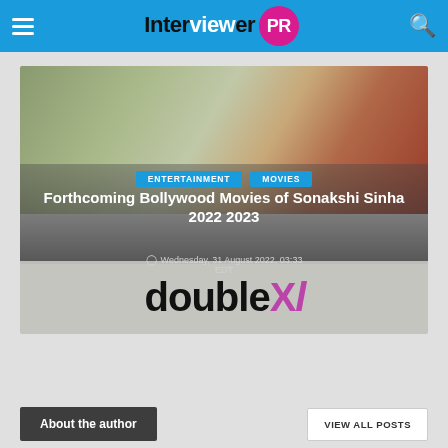Interviewer PR
[Figure (screenshot): Article card showing two women in outdoor setting, with 'doubleXl' movie logo at bottom, category badges for ENTERTAINMENT and MOVIES, article title 'Forthcoming Bollywood Movies of Sonakshi Sinha 2022 2023', date Wednesday, 31 August 2022, 03:33 EDT]
Forthcoming Bollywood Movies of Sonakshi Sinha 2022 2023
Wednesday, 31 August 2022, 03:33 EDT
About the author
VIEW ALL POSTS